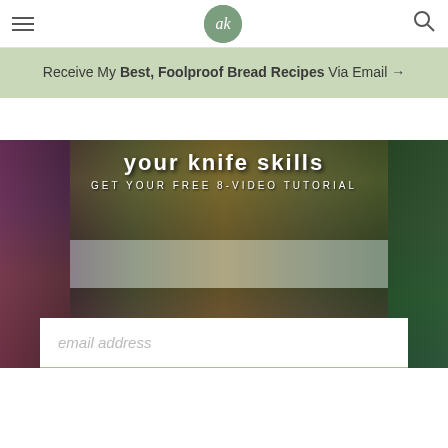ak - navigation header with hamburger menu and search icon
Receive My Best, Foolproof Bread Recipes Via Email →
[Figure (photo): Overhead view of bowls with chopped vegetables including red onion, cherry tomatoes, cucumber, yellow tomatoes, and dressing on a wooden surface]
GET YOUR FREE 8-VIDEO TUTORIAL
email address
SUBSCRIBE »